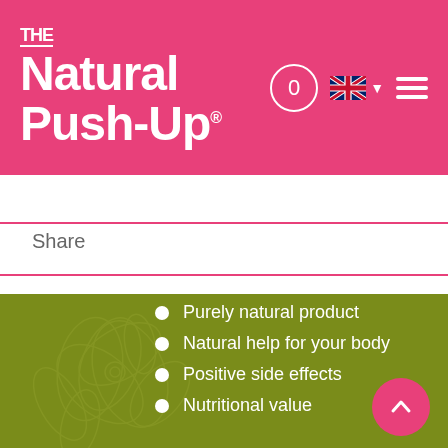THE Natural Push-Up
Share
Purely natural product
Natural help for your body
Positive side effects
Nutritional value